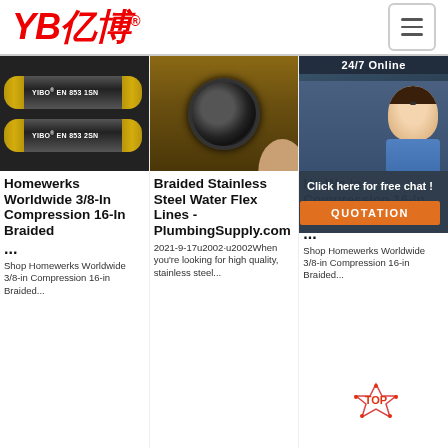[Figure (logo): YB亿博 logo in red italic bold text with registered trademark symbol]
[Figure (photo): Two black hydraulic hoses labeled YIBO EN 853 1SN and YIBO EN 853 2SN with gold braid ends on dark background]
[Figure (photo): Close-up end view of a black braided hose held in a hand]
[Figure (photo): Customer service agent woman smiling with headset, dark background, 24/7 Online banner, with chat overlay showing Click here for free chat and QUOTATION button]
Homewerks Worldwide 3/8-In Compression 16-In Braided
...
Shop Homewerks Worldwide 3/8-in Compression 16-in Braided...
Braided Stainless Steel Water Flex Lines - PlumbingSupply.com
2021-9-17u2002·u2002When you're looking for high quality, stainless steel...
Ho Wo In Compression 16-In Braided
...
Shop Homewerks Worldwide 3/8-in Compression 16-in Braided...